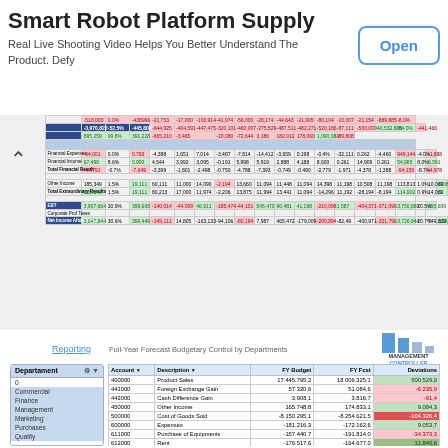[Figure (screenshot): Advertisement banner for Smart Robot Platform Supply with Open button]
Smart Robot Platform Supply
Real Live Shooting Video Helps You Better Understand The Product. Defy
[Figure (screenshot): Spreadsheet screenshot showing financial data with columns for budget, forecast, and deviations across multiple rows with colored cells (green for positive, red for negative deviations). Includes navigation arrow on left.]
Reporting
Full-Year Forecast Budgetary Control by Departments
[Figure (infographic): Management Controller logo with blue bar chart icon]
| Account | Description | FY Budget | FY Fcst | Deviations |
| --- | --- | --- | --- | --- |
| 400000 | Product Sales | 17.445.795,2 | 18.006.325,1 | 500.529,9 |
| 441000 | Foreign Exchange Gain | 57.320,6 | 51.084,6 | -6.235,9 |
| 442000 | Cash Difference Gain | 3.908,1 | 3.816,7 | -91,4 |
| 450000 | Other Income | 165.748,8 | 174.833,1 | 9.084,3 |
| 500000 | Cost of Goods Sold | -8.150.295,1 | -8.254.621,5 | -104.326,4 |
| 600000 | Expenses | -181.216,3 | -172.162,6 | 9.053,7 |
| 611000 | Purchase of Equipments | -157.440,7 | -191.814,0 | -34.373,3 |
| 612000 | Rent | -176.517,6 | -164.677,0 | 11.840,6 |
| 620000 | Bank Fees | -35.379,4 | -35.029,3 | 350,1 |
| 630000 | Salary Expenses | -5.048.666,7 | -5.243.555,6 | -194.888,9 |
| 641000 | Foreign Exchange Loss | -29.287,6 | -29.330,5 | -42,9 |
| 642000 | Cash Difference Loss | -35.754,7 | -44.759,5 | -5.004,9 |
| 961000 | RD Expenses | -176.624,0 | -176.663,1 | -39,1 |
| 962000 | Sales Expenses | -178.997,1 | -189.028,8 | -10.031,7 |
|  | Total general | 3.492.993,6 | 1.734.417,7 | 238.429,1 |